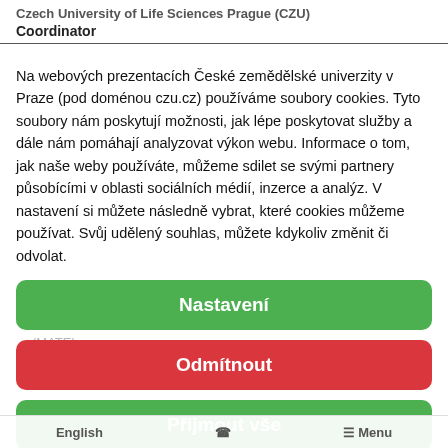Czech University of Life Sciences Prague (CZU) — Coordinator
University of Natural Resources and Life Sciences (BOK)
Na webových prezentacích České zemědělské univerzity v Praze (pod doménou czu.cz) používáme soubory cookies. Tyto soubory nám poskytují možnosti, jak lépe poskytovat služby a dále nám pomáhají analyzovat výkon webu. Informace o tom, jak naše weby používáte, můžeme sdilet se svými partnery působícími v oblasti sociálních médií, inzerce a analýz. V nastavení si můžete následně vybrat, které cookies můžeme používat. Svůj udělený souhlas, můžete kdykoliv změnit či odvolat.
Hungarian University of Agriculture and Life Sciences (MATE)
Nastavení
Odmítnout
Přijmout vše
English | ☎ | ≡ Menu